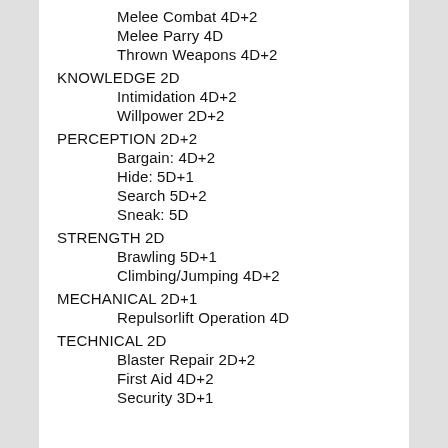Melee Combat 4D+2
Melee Parry 4D
Thrown Weapons 4D+2
KNOWLEDGE 2D
Intimidation 4D+2
Willpower 2D+2
PERCEPTION 2D+2
Bargain: 4D+2
Hide: 5D+1
Search 5D+2
Sneak: 5D
STRENGTH 2D
Brawling 5D+1
Climbing/Jumping 4D+2
MECHANICAL 2D+1
Repulsorlift Operation 4D
TECHNICAL 2D
Blaster Repair 2D+2
First Aid 4D+2
Security 3D+1